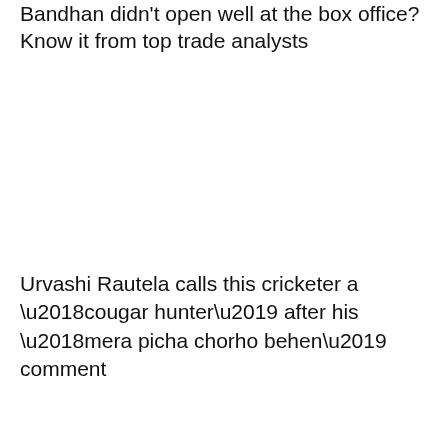Bandhan didn't open well at the box office? Know it from top trade analysts
Urvashi Rautela calls this cricketer a ‘cougar hunter’ after his ‘mera picha chorho behen’ comment